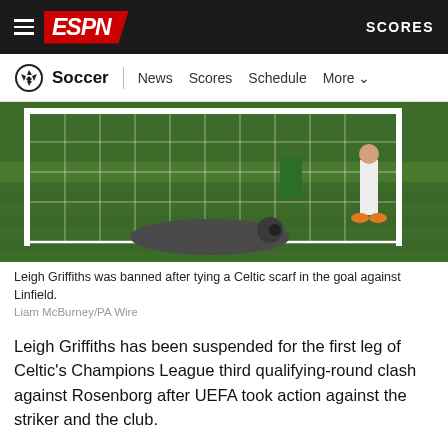ESPN  SCORES
Soccer  News  Scores  Schedule  More
[Figure (photo): Soccer player lying near goal net on grass field, another player in white standing in background]
Leigh Griffiths was banned after tying a Celtic scarf in the goal against Linfield.
Liam McBurney/PA Wire
Leigh Griffiths has been suspended for the first leg of Celtic's Champions League third qualifying-round clash against Rosenborg after UEFA took action against the striker and the club.
Griffiths received a one-match ban for "provoking supporters" at the end of their win over Linfield, who have been hit with a partial closure of their stadium for their next European game